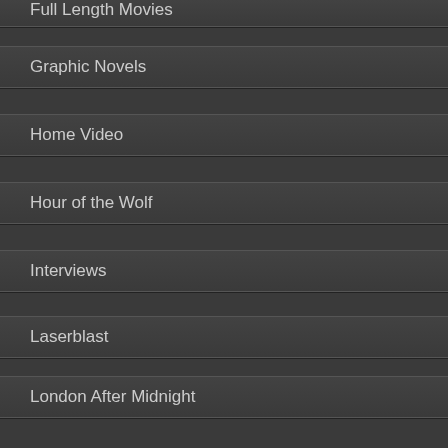Full Length Movies
Graphic Novels
Home Video
Hour of the Wolf
Interviews
Laserblast
London After Midnight
Magazines
Media
Merchandise